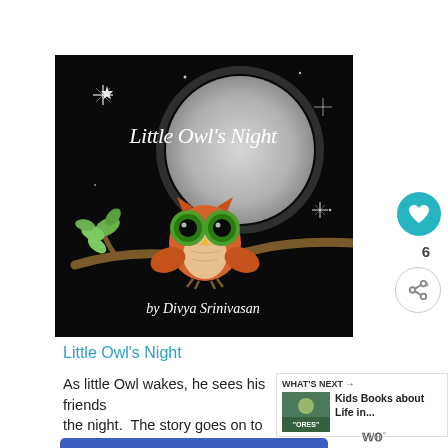[Figure (illustration): Book cover of 'Little Owl's Night' by Divya Srinivasan. Black background with a large grey moon, a cartoon owl with big green eyes perched on a brown branch with green leaves, and cursive white text for the title and author name.]
Little Owl's Night
As little Owl wakes, he sees his friends the night.  The story goes on to describe what
[Figure (screenshot): WHAT'S NEXT → Kids Books about Life in... promo widget with a small book thumbnail]
"You okay?"